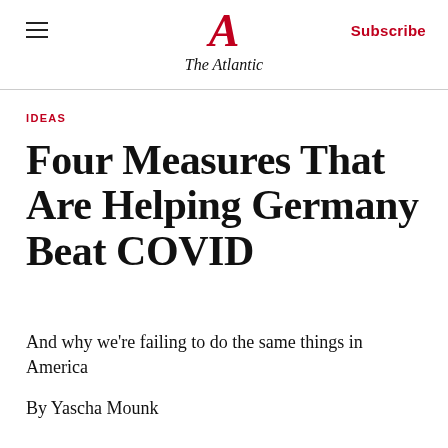The Atlantic — Subscribe
IDEAS
Four Measures That Are Helping Germany Beat COVID
And why we're failing to do the same things in America
By Yascha Mounk